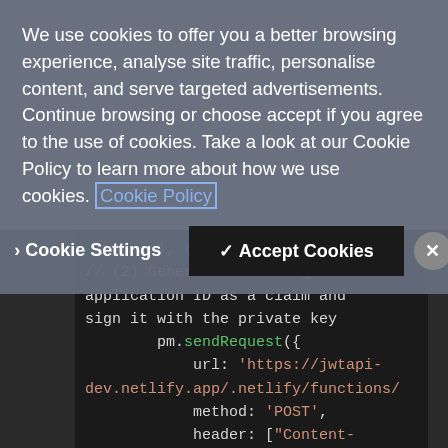We use cookies to offer you a better browsing experience, analyse site traffic, personalise content, and serve targeted advertisements. Continue browsing or choose accept if you agree to the use of cookies. Take a look at our Cookie Policy to learn more about how we use cookies. Cookie Policy
> Cookie Settings   ✓ Accept Cookies   ✕
[Figure (screenshot): Dark-themed code editor showing JavaScript code with colored syntax highlighting. Code shows: }, (err, res) => { // (2) Generate JWT using the application ID as a claim and sign it with the private key pm.sendRequest({ url: 'https://jwtapi-dev.netlify.app/.netlify/functions/ method: 'POST', header: ["Content-Type: application/json"], body: JSON.stringify({]